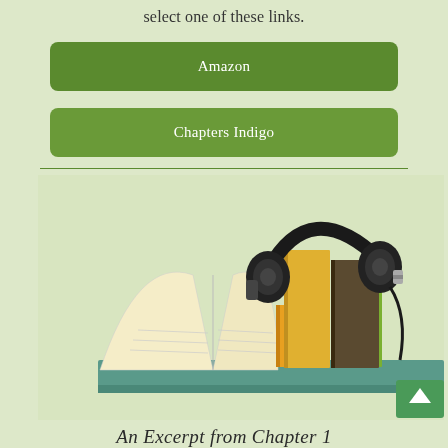select one of these links.
Amazon
Chapters Indigo
[Figure (photo): An open book with pages fanned out on the left, and a stack of colorful books with headphones resting on top on the right, displayed on a teal surface against a light beige/green background.]
An Excerpt from Chapter 1